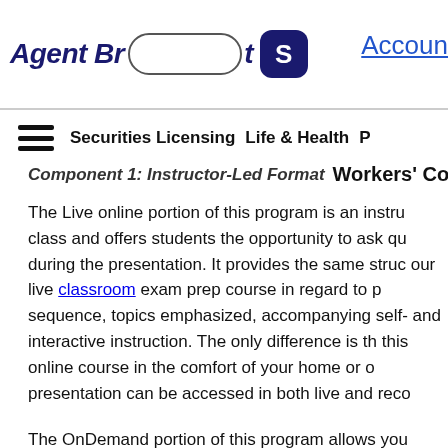Agent Br... [search] S ... Accoun...
Securities Licensing   Life & Health   P...
Component 1: Instructor-Led Format   Workers' Comp
The Live online portion of this program is an instru... class and offers students the opportunity to ask qu... during the presentation. It provides the same struc... our live classroom exam prep course in regard to p... sequence, topics emphasized, accompanying self-... and interactive instruction. The only difference is th... this online course in the comfort of your home or o... presentation can be accessed in both live and reco...
The OnDemand portion of this program allows you... program anytime, anywhere and as often as you'd... the Series 6 exam.